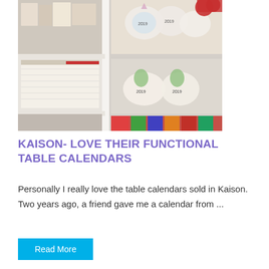[Figure (photo): Store shelf display showing 2019 calendars and stationery items including unicorn-shaped die-cut calendars and various desk calendars arranged on white shelving units.]
KAISON- LOVE THEIR FUNCTIONAL TABLE CALENDARS
Personally I really love the table calendars sold in Kaison. Two years ago, a friend gave me a calendar from ...
Read More